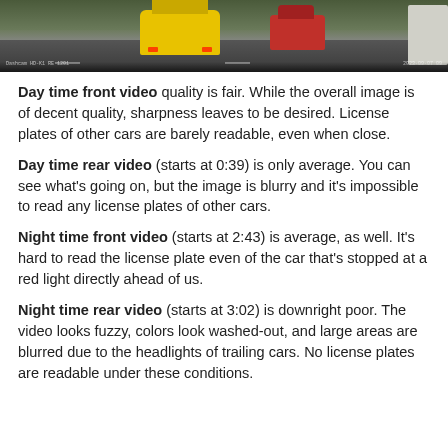[Figure (photo): Dashcam front view showing a yellow taxi ahead, a red car to the right, and a white vehicle on the far right, taken from inside a car on a multi-lane road.]
Day time front video quality is fair. While the overall image is of decent quality, sharpness leaves to be desired. License plates of other cars are barely readable, even when close.
Day time rear video (starts at 0:39) is only average. You can see what's going on, but the image is blurry and it's impossible to read any license plates of other cars.
Night time front video (starts at 2:43) is average, as well. It's hard to read the license plate even of the car that's stopped at a red light directly ahead of us.
Night time rear video (starts at 3:02) is downright poor. The video looks fuzzy, colors look washed-out, and large areas are blurred due to the headlights of trailing cars. No license plates are readable under these conditions.